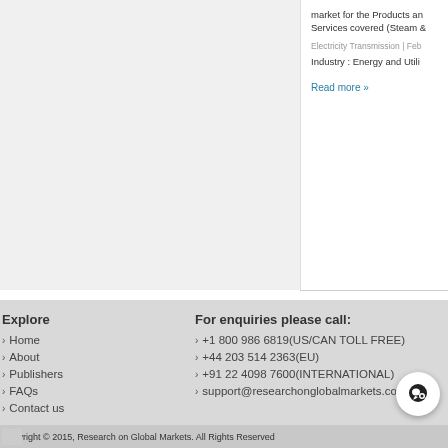market for the Products and Services covered (Steam &
Electricity Transmission | Feb
Industry : Energy and Utili
Read more »
Explore
Home
About
Publishers
FAQs
Contact us
For enquiries please call:
+1 800 986 6819(US/CAN TOLL FREE)
+44 203 514 2363(EU)
+91 22 4098 7600(INTERNATIONAL)
support@researchonglobalmarkets.com
Copyright © 2015, Research on Global Markets. All Rights Reserved